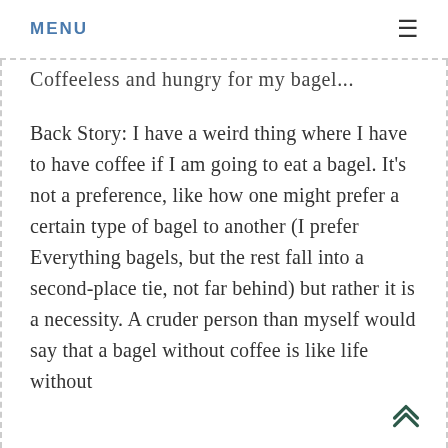MENU ≡
Coffeeless and hungry for my bagel...
Back Story: I have a weird thing where I have to have coffee if I am going to eat a bagel. It's not a preference, like how one might prefer a certain type of bagel to another (I prefer Everything bagels, but the rest fall into a second-place tie, not far behind) but rather it is a necessity. A cruder person than myself would say that a bagel without coffee is like life without